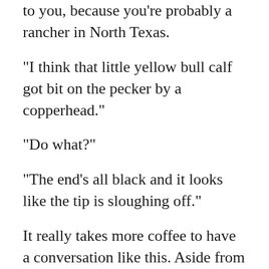to you, because you're probably a rancher in North Texas.
"I think that little yellow bull calf got bit on the pecker by a copperhead."
"Do what?"
"The end's all black and it looks like the tip is sloughing off."
It really takes more coffee to have a conversation like this. Aside from the monetary loss of another bull, I was really pretty fond of the little guy. His sire was a Charolais bull that belonged to a friend of ours. We bred that Charolais to an assortment of Braford heifers and each calf that hit the ground was really nice. Since we moved up here and no longer had access to